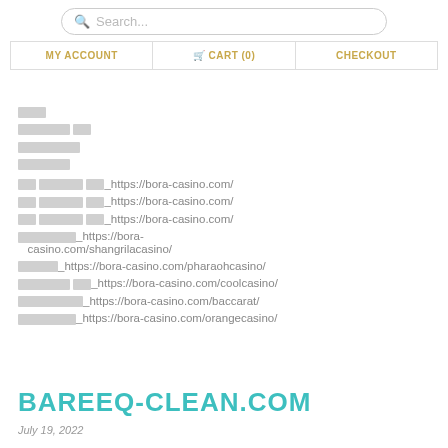Search... | MY ACCOUNT | CART (0) | CHECKOUT
□□□□
□□□□□□ □□
□□□□□□□
□□□□□□
□□ □□□□□□ □□_https://bora-casino.com/
□□ □□□□□□ □□_https://bora-casino.com/
□□ □□□□□□ □□_https://bora-casino.com/
□□□□□□□_https://bora-casino.com/shangrilacasino/
□□□□□_https://bora-casino.com/pharaohcasino/
□□□□□□ □□_https://bora-casino.com/coolcasino/
□□□□□□□□_https://bora-casino.com/baccarat/
□□□□□□□_https://bora-casino.com/orangecasino/
BAREEQ-CLEAN.COM
July 19, 2022